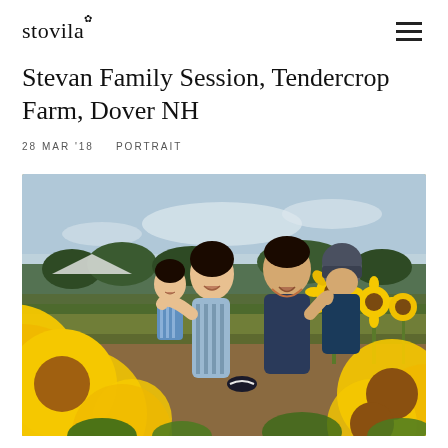stovila
Stevan Family Session, Tendercrop Farm, Dover NH
28 MAR '18    PORTRAIT
[Figure (photo): A joyful family of four laughing together in a sunflower field at Tendercrop Farm. A woman holds a toddler in a striped outfit on the left, and a man holds a child wearing a helmet on the right. Large yellow sunflowers fill the foreground and background.]